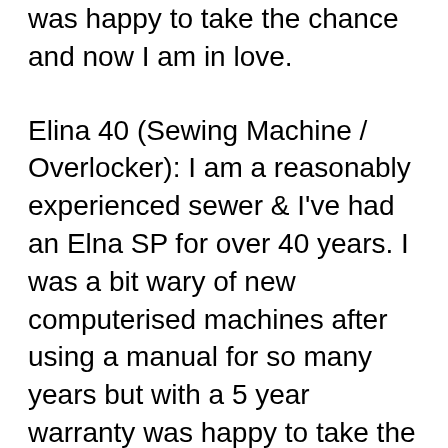was happy to take the chance and now I am in love.
Elina 40 (Sewing Machine / Overlocker): I am a reasonably experienced sewer & I've had an Elna SP for over 40 years. I was a bit wary of new computerised machines after using a manual for so many years but with a 5 year warranty was happy to take the chance and now I am in love. The Elina 40 is a light weight, versatile machine with the functions of a more expensive model. This machine is ideal for the novice or experienced sewer.
ELNA ELINA 40 - $389.00. SewingMachinesBrand NewFull